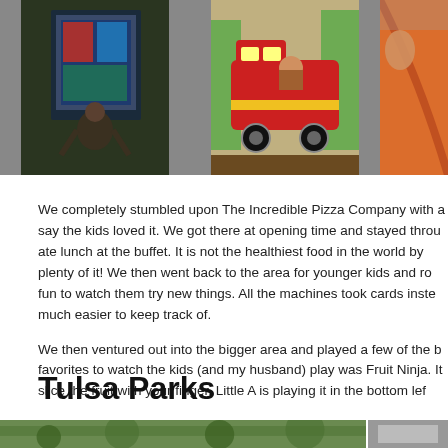[Figure (photo): Three photos in a row: child at interactive display, colorful train ride arcade game, child on orange slide]
We completely stumbled upon The Incredible Pizza Company with a say the kids loved it. We got there at opening time and stayed throu ate lunch at the buffet. It is not the healthiest food in the world by plenty of it! We then went back to the area for younger kids and ro fun to watch them try new things. All the machines took cards inste much easier to keep track of.
We then ventured out into the bigger area and played a few of the b favorites to watch the kids (and my husband) play was Fruit Ninja. It slice the fruit with your finger. Little A is playing it in the bottom lef
Tulsa Parks
[Figure (photo): Bottom row of photos partially visible: park/trees scene and another photo]